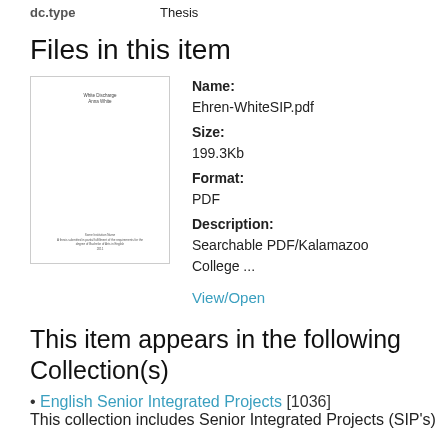| dc.type | Thesis |
| --- | --- |
Files in this item
[Figure (other): Thumbnail image of PDF document cover page for Ehren-WhiteSIP.pdf]
Name: Ehren-WhiteSIP.pdf
Size: 199.3Kb
Format: PDF
Description: Searchable PDF/Kalamazoo College ...
View/Open
This item appears in the following Collection(s)
English Senior Integrated Projects [1036] This collection includes Senior Integrated Projects (SIP's)